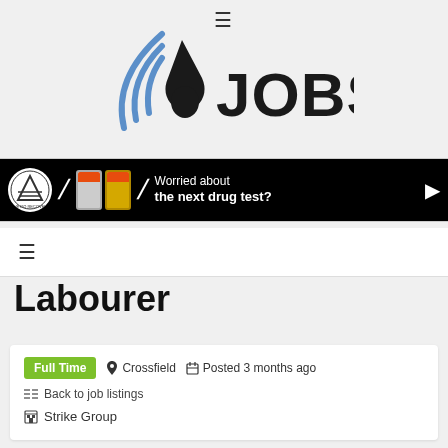≡
[Figure (logo): Jobs website logo with water drop icon and blue wifi-like waves, text 'JOBS' in bold black]
[Figure (photo): Advertisement banner: WE DO RECOVER logo, two urine sample containers, text 'Worried about the next drug test?']
≡
Labourer
Full Time  📍 Crossfield  📅 Posted 3 months ago
Back to job listings
Strike Group